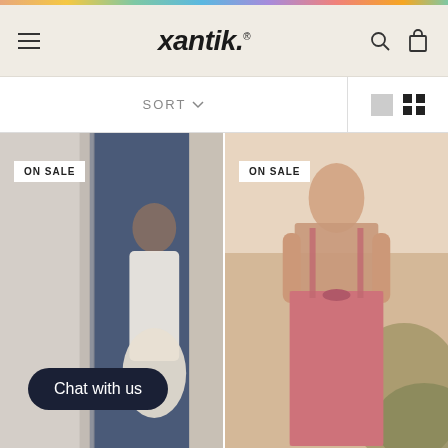[Figure (other): Rainbow/colorful decorative bar at top of page]
xantik. — Navigation header with hamburger menu, logo, search and cart icons
SORT
[Figure (photo): Two product photos side by side: left shows a woman in a white floral dress standing by a blue door (ON SALE badge), right shows a woman from behind in a pink floral backless dress outdoors (ON SALE badge). Chat with us button overlaid on left image.]